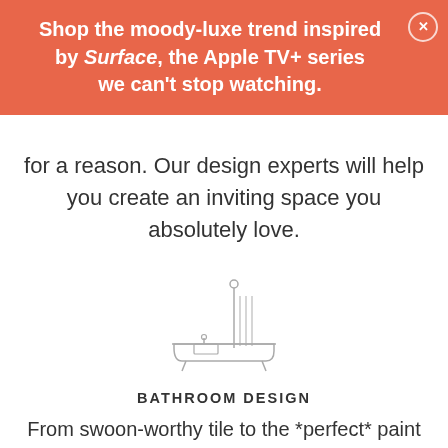Shop the moody-luxe trend inspired by Surface, the Apple TV+ series we can't stop watching.
for a reason. Our design experts will help you create an inviting space you absolutely love.
[Figure (illustration): Line drawing icon of a bathtub with shower curtain rod and towel hanging]
BATHROOM DESIGN
From swoon-worthy tile to the *perfect* paint color, we'll help you design your very own spa sanctuary.
[Figure (illustration): Partial line drawing icon at the bottom of the page]